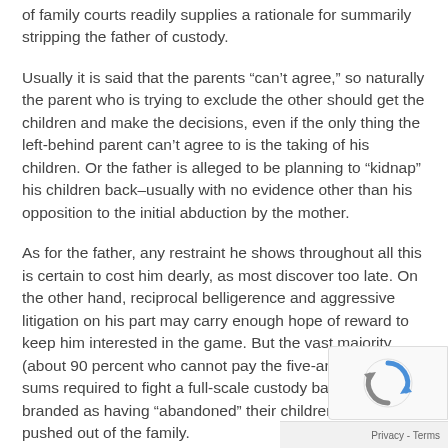of family courts readily supplies a rationale for summarily stripping the father of custody.
Usually it is said that the parents “can’t agree,” so naturally the parent who is trying to exclude the other should get the children and make the decisions, even if the only thing the left-behind parent can’t agree to is the taking of his children. Or the father is alleged to be planning to “kidnap” his children back–usually with no evidence other than his opposition to the initial abduction by the mother.
As for the father, any restraint he shows throughout all this is certain to cost him dearly, as most discover too late. On the other hand, reciprocal belligerence and aggressive litigation on his part may carry enough hope of reward to keep him interested in the game. But the vast majority (about 90 percent who cannot pay the five-and six-figure sums required to fight a full-scale custody battle are branded as having “abandoned” their children and simply pushed out of the family.
Some fathers’ rights activists are now determined to fight fire with fire, and imitate the techniques of mothers: If you think